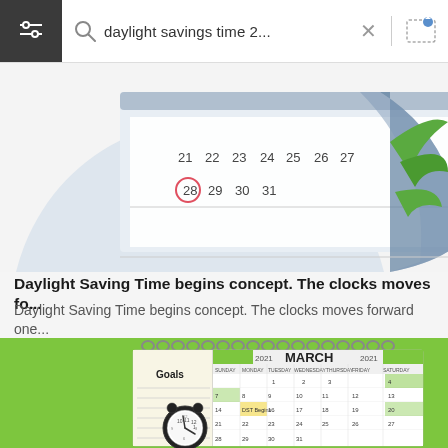[Figure (screenshot): Browser search bar showing query 'daylight savings time 2...' with search icon, close X button, divider, and camera/image upload icon. Left side has dark hamburger/filter menu area.]
[Figure (illustration): Partial calendar illustration showing dates 21-31 with date 28 circled in red/pink, with a decorative blue curved page and green plant leaves on right side.]
Daylight Saving Time begins concept. The clocks moves fo...
Daylight Saving Time begins concept. The clocks moves forward one...
[Figure (photo): Green background with a desk calendar showing March 2021 with a Goals section on the left. An alarm clock showing approximately 2:00 is in the lower left of the calendar. Calendar grid shows dates for March 2021 with some highlighted cells.]